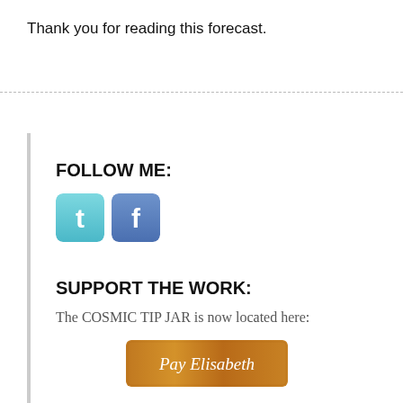Thank you for reading this forecast.
FOLLOW ME:
[Figure (illustration): Twitter and Facebook social media icon buttons. Twitter icon is a teal/blue rounded square with white bird logo. Facebook icon is a blue rounded square with white 'f' logo.]
SUPPORT THE WORK:
The COSMIC TIP JAR is now located here:
[Figure (illustration): Pay Elisabeth button with orange/gold wood-texture background and white text reading 'Pay Elisabeth']